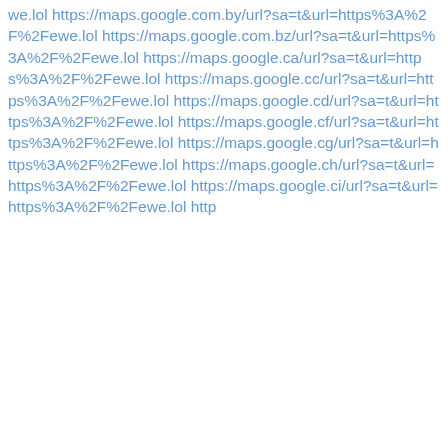we.lol https://maps.google.com.by/url?sa=t&url=https%3A%2F%2Fewe.lol https://maps.google.com.bz/url?sa=t&url=https%3A%2F%2Fewe.lol https://maps.google.ca/url?sa=t&url=https%3A%2F%2Fewe.lol https://maps.google.cc/url?sa=t&url=https%3A%2F%2Fewe.lol https://maps.google.cd/url?sa=t&url=https%3A%2F%2Fewe.lol https://maps.google.cf/url?sa=t&url=https%3A%2F%2Fewe.lol https://maps.google.cg/url?sa=t&url=https%3A%2F%2Fewe.lol https://maps.google.ch/url?sa=t&url=https%3A%2F%2Fewe.lol https://maps.google.ci/url?sa=t&url=https%3A%2F%2Fewe.lol http